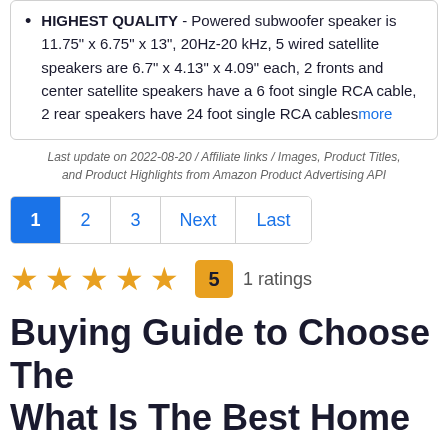HIGHEST QUALITY - Powered subwoofer speaker is 11.75" x 6.75" x 13", 20Hz-20 kHz, 5 wired satellite speakers are 6.7" x 4.13" x 4.09" each, 2 fronts and center satellite speakers have a 6 foot single RCA cable, 2 rear speakers have 24 foot single RCA cables more
Last update on 2022-08-20 / Affiliate links / Images, Product Titles, and Product Highlights from Amazon Product Advertising API
1 2 3 Next Last
★ ★ ★ ★ ★  5  1 ratings
Buying Guide to Choose The What Is The Best Home